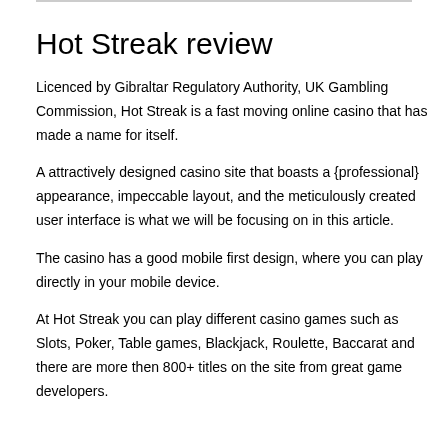Hot Streak review
Licenced by Gibraltar Regulatory Authority, UK Gambling Commission, Hot Streak is a fast moving online casino that has made a name for itself.
A attractively designed casino site that boasts a {professional} appearance, impeccable layout, and the meticulously created user interface is what we will be focusing on in this article.
The casino has a good mobile first design, where you can play directly in your mobile device.
At Hot Streak you can play different casino games such as Slots, Poker, Table games, Blackjack, Roulette, Baccarat and there are more then 800+ titles on the site from great game developers.